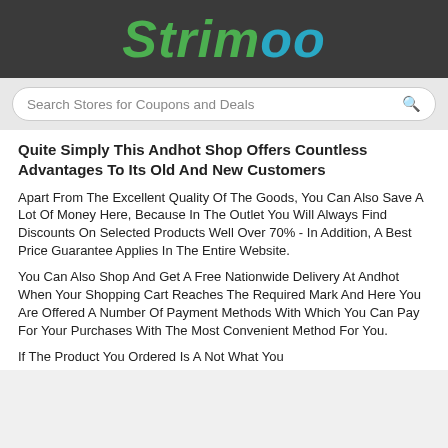Strimoo
Search Stores for Coupons and Deals
Quite Simply This Andhot Shop Offers Countless Advantages To Its Old And New Customers
Apart From The Excellent Quality Of The Goods, You Can Also Save A Lot Of Money Here, Because In The Outlet You Will Always Find Discounts On Selected Products Well Over 70% - In Addition, A Best Price Guarantee Applies In The Entire Website.
You Can Also Shop And Get A Free Nationwide Delivery At Andhot When Your Shopping Cart Reaches The Required Mark And Here You Are Offered A Number Of Payment Methods With Which You Can Pay For Your Purchases With The Most Convenient Method For You.
If The Product You Ordered Is A Not What You